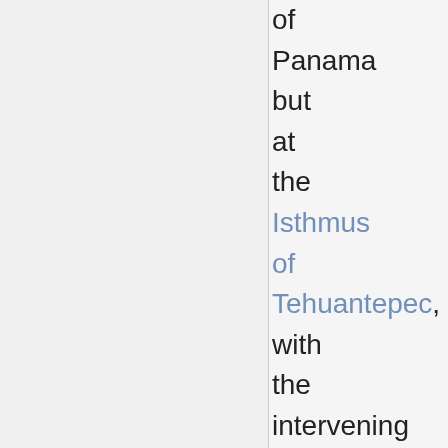of Panama but at the Isthmus of Tehuantepec, with the intervening region called Central America. Most,